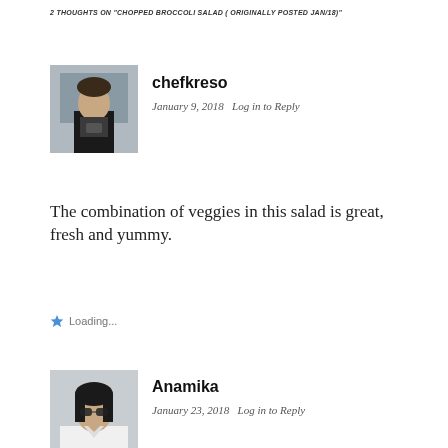2 THOUGHTS ON "CHOPPED BROCCOLI SALAD ( ORIGINALLY POSTED JAN/18)"
[Figure (photo): Avatar photo of chefkreso — person in dark apron]
chefkreso
January 9, 2018   Log in to Reply
The combination of veggies in this salad is great, fresh and yummy.
★ Loading...
[Figure (photo): Avatar photo of Anamika — person with sunglasses]
Anamika
January 23, 2018   Log in to Reply
This is really amazing
Advertisements
[Figure (photo): ULTA Beauty advertisement banner showing makeup/beauty imagery with SHOP NOW text]